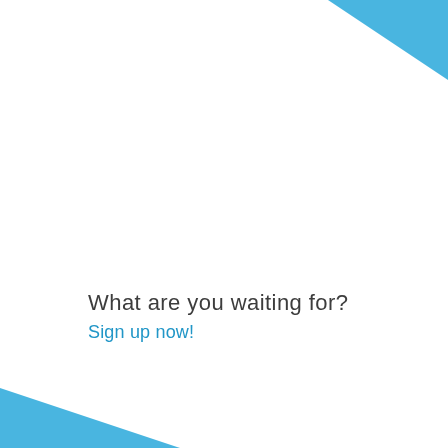[Figure (illustration): Light blue diagonal decorative shape in the top-right corner of the page]
What are you waiting for?
Sign up now!
[Figure (illustration): Light blue diagonal decorative shape in the bottom-left corner of the page]